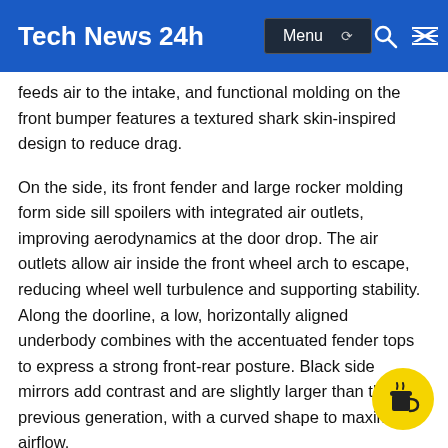Tech News 24h
feeds air to the intake, and functional molding on the front bumper features a textured shark skin-inspired design to reduce drag.
On the side, its front fender and large rocker molding form side sill spoilers with integrated air outlets, improving aerodynamics at the door drop. The air outlets allow air inside the front wheel arch to escape, reducing wheel well turbulence and supporting stability. Along the doorline, a low, horizontally aligned underbody combines with the accentuated fender tops to express a strong front-rear posture. Black side mirrors add contrast and are slightly larger than the previous generation, with a curved shape to maximize airflow.
At the rear, inverted wheel arches express a wide stance and arch fins control air flow. Aerodynamic fins...